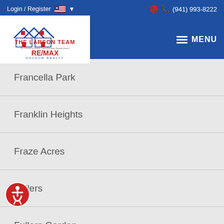Login / Register  (941) 993-8222  MENU
[Figure (logo): The Larson Team RE/MAX Anchor Realty logo with house roofline illustration]
Francella Park
Franklin Heights
Fraze Acres
Fullers
Fullers Garden
Garden Manor
Gassners Ray
ntry Gardens
Glass